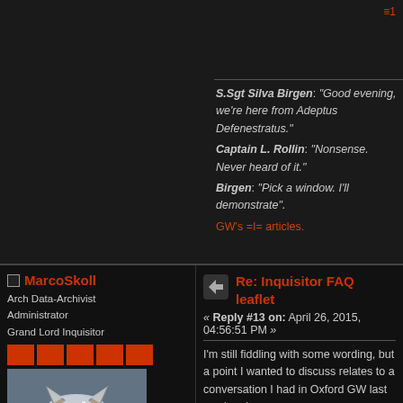S.Sgt Silva Birgen: "Good evening, we're here from Adeptus Defenestratus."
Captain L. Rollin: "Nonsense. Never heard of it."
Birgen: "Pick a window. I'll demonstrate".
GW's =I= articles.
MarcoSkoll
Arch Data-Archivist
Administrator
Grand Lord Inquisitor
Posts: 5088
Time for some thrilling heroics.
Re: Inquisitor FAQ leaflet
« Reply #13 on: April 26, 2015, 04:56:51 PM »
I'm still fiddling with some wording, but a point I wanted to discuss relates to a conversation I had in Oxford GW last weekend.

As fundamentally simple as INQ28 is, one of the guys I met in there said something to the effect of "I couldn't find the 28mm rules". Given I've heard much the same comment with some regularity, I think it probably merits a few words on the FAQ leaflet.

Given the tight word budget, I'm just planning to find somewhere (probably in the modelling